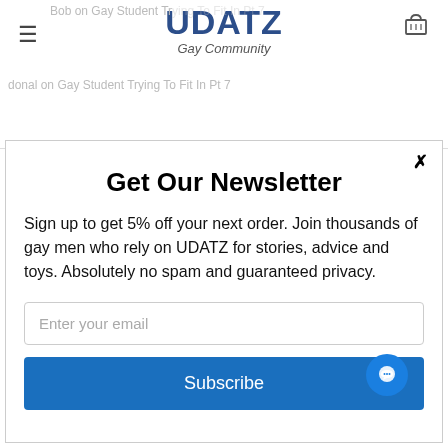UDATZ
Gay Community
Bob on Gay Student Trying To Fit In Pt 7
donal on Gay Student Trying To Fit In Pt 7
CATEGORIES
Get Our Newsletter
Sign up to get 5% off your next order. Join thousands of gay men who rely on UDATZ for stories, advice and toys. Absolutely no spam and guaranteed privacy.
Enter your email
Subscribe